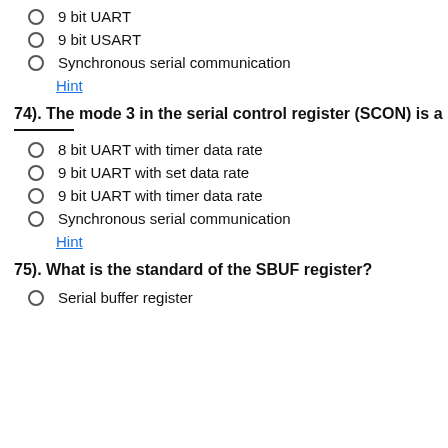9 bit UART
9 bit USART
Synchronous serial communication
Hint
74). The mode 3 in the serial control register (SCON) is a ________
8 bit UART with timer data rate
9 bit UART with set data rate
9 bit UART with timer data rate
Synchronous serial communication
Hint
75). What is the standard of the SBUF register?
Serial buffer register